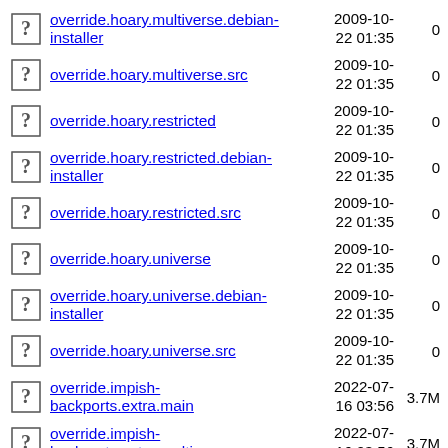override.hoary.multiverse.debian-installer  2009-10-22 01:35  0
override.hoary.multiverse.src  2009-10-22 01:35  0
override.hoary.restricted  2009-10-22 01:35  0
override.hoary.restricted.debian-installer  2009-10-22 01:35  0
override.hoary.restricted.src  2009-10-22 01:35  0
override.hoary.universe  2009-10-22 01:35  0
override.hoary.universe.debian-installer  2009-10-22 01:35  0
override.hoary.universe.src  2009-10-22 01:35  0
override.impish-backports.extra.main  2022-07-16 03:56  3.7M
override.impish-backports.extra.multiverse  2022-07-16 03:56  3.7M
override.impish-backports.extra.restricted  2022-07-16 03:56  3.7M
override.impish-  2022-07-